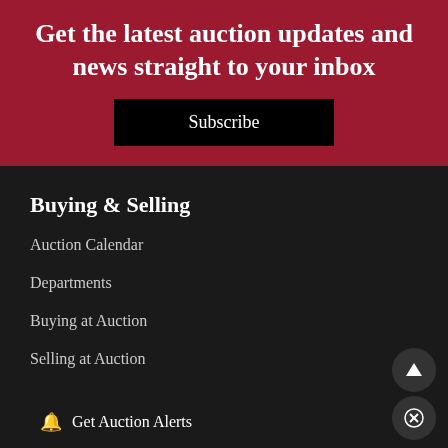Get the latest auction updates and news straight to your inbox
Subscribe
Buying & Selling
Auction Calendar
Departments
Buying at Auction
Selling at Auction
Services
Get Auction Alerts